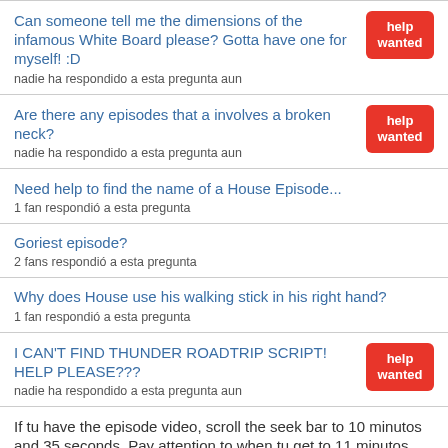Can someone tell me the dimensions of the infamous White Board please? Gotta have one for myself! :D
nadie ha respondido a esta pregunta aun
Are there any episodes that a involves a broken neck?
nadie ha respondido a esta pregunta aun
Need help to find the name of a House Episode...
1 fan respondió a esta pregunta
Goriest episode?
2 fans respondió a esta pregunta
Why does House use his walking stick in his right hand?
1 fan respondió a esta pregunta
I CAN'T FIND THUNDER ROADTRIP SCRIPT! HELP PLEASE???
nadie ha respondido a esta pregunta aun
If tu have the episode video, scroll the seek bar to 10 minutos and 35 seconds. Pay attention to when tu get to 11 minutos and 08 seconds. Cameron says, "We got her temperature down below boiling, could be infection".